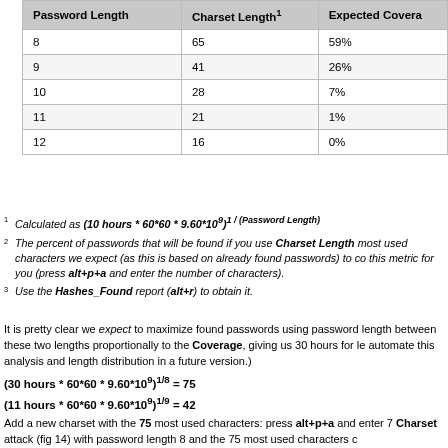| Password Length | Charset Length¹ | Expected Coverage² |
| --- | --- | --- |
| 8 | 65 | 59% |
| 9 | 41 | 26% |
| 10 | 28 | 7% |
| 11 | 21 | 1% |
| 12 | 16 | 0% |
¹ Calculated as (10 hours * 60*60 * 9.60*10⁹)^(1 / (Password Length))
² The percent of passwords that will be found if you use Charset Length most used characters (as this is based on already found passwords) to co... this metric for you (press alt+p+a and enter the number of characters).
³ Use the Hashes_Found report (alt+r) to obtain it.
It is pretty clear we expect to maximize found passwords using password length between these two lengths proportionally to the Coverage, giving us 30 hours for le... automate this analysis and length distribution in a future version.)
(30 hours * 60*60 * 9.60*10⁹)^(1/8) = 75
(11 hours * 60*60 * 9.60*10⁹)^(1/9) = 42
Add a new charset with the 75 most used characters: press alt+p+a and enter 7... Charset attack (fig 14) with password length 8 and the 75 most used characters c...